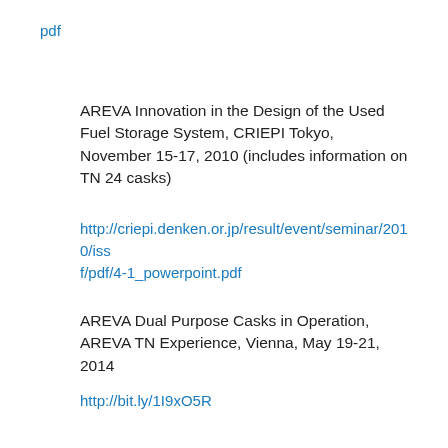pdf
AREVA Innovation in the Design of the Used Fuel Storage System, CRIEPI Tokyo, November 15-17, 2010 (includes information on TN 24 casks)
http://criepi.denken.or.jp/result/event/seminar/2010/issf/pdf/4-1_powerpoint.pdf
AREVA Dual Purpose Casks in Operation, AREVA TN Experience, Vienna, May 19-21, 2014
http://bit.ly/1I9xO5R